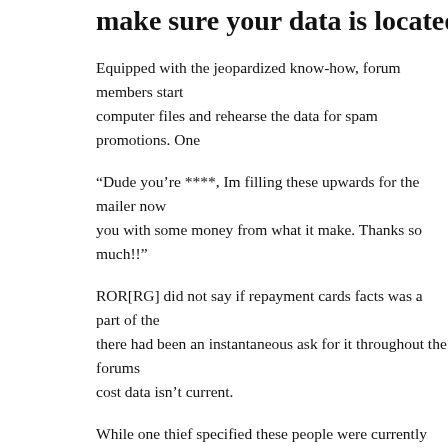make sure your data is located at minimum
Equipped with the jeopardized know-how, forum members start computer files and rehearse the data for spam promotions. One
“Dude you’re ****, Im filling these upwards for the mailer now you with some money from what it make. Thanks so much!!”
ROR[RG] did not say if repayment cards facts was a part of the there had been an instantaneous ask for it throughout the forums cost data isn’t current.
While one thief specified these people were currently making us additional danger for Xxx Friend Finder members (considering and extortion plans. Loads of people in that particular databases most likely his or her practices online tends to be a dark informa
“one example was a politician that might https://besthookupweb creating a free account using an artificial term, but put a well-kr